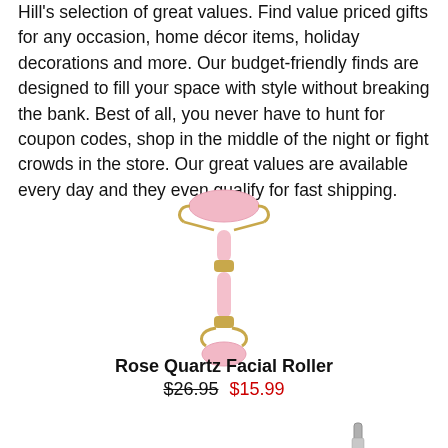Hill's selection of great values. Find value priced gifts for any occasion, home décor items, holiday decorations and more. Our budget-friendly finds are designed to fill your space with style without breaking the bank. Best of all, you never have to hunt for coupon codes, shop in the middle of the night or fight crowds in the store. Our great values are available every day and they even qualify for fast shipping.
[Figure (photo): Rose Quartz Facial Roller — a pink stone double-ended facial roller with gold-tone metal frame, shown vertically on white background]
Rose Quartz Facial Roller
$26.95  $15.99
[Figure (photo): Partial view of a metallic tool at the bottom right corner of the page]